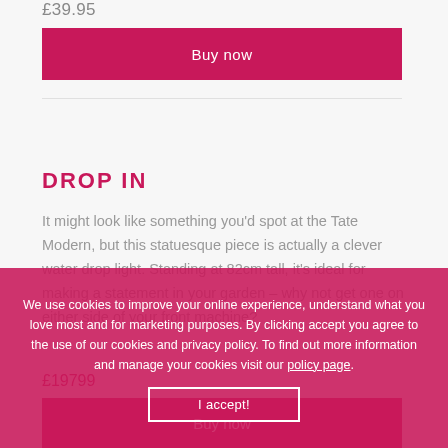£39.95
Buy now
DROP IN
It might look like something you'd spot at the Tate Modern, but this statuesque piece is actually a clever water drop light. Standing at 82cm tall, it's ideal for making a statement in your garden – why not get one on either side of your front machine?
£19799
Buy now
We use cookies to improve your online experience, understand what you love most and for marketing purposes. By clicking accept you agree to the use of our cookies and privacy policy. To find out more information and manage your cookies visit our policy page.
I accept!